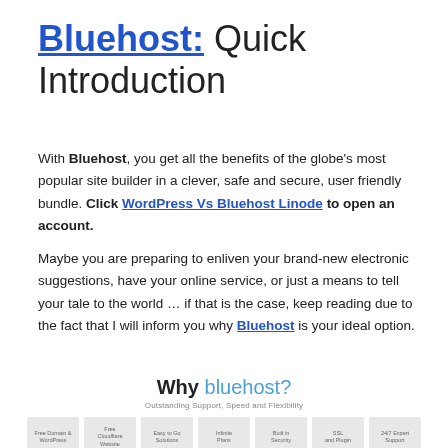Bluehost: Quick Introduction
With Bluehost, you get all the benefits of the globe's most popular site builder in a clever, safe and secure, user friendly bundle. Click WordPress Vs Bluehost Linode to open an account.
Maybe you are preparing to enliven your brand-new electronic suggestions, have your online service, or just a means to tell your tale to the world … if that is the case, keep reading due to the fact that I will inform you why Bluehost is your ideal option.
[Figure (infographic): Why bluehost? infographic showing 'Outstanding Support, Speed and Flexibility' with 7 icon boxes: Free Domain & WordPress, Free Cloudflare Website, Easy to Go Solutions, Infinite Plans, Built-in Security, SSL and Plugin, 24/7 Expert Support]